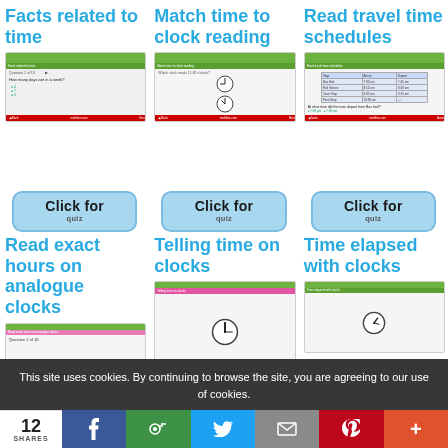Facts related to time
[Figure (screenshot): Quiz screenshot for Facts related to time]
Match time to clock reading
[Figure (screenshot): Quiz screenshot for Match time to clock reading with two analogue clocks]
Read travel time schedules
[Figure (screenshot): Quiz screenshot for Read travel time schedules with a table]
[Figure (other): Click for quiz button - Read exact hours on analogue clocks]
Read exact hours on analogue clocks
[Figure (screenshot): Quiz screenshot for Read exact hours on analogue clocks]
[Figure (other): Click for quiz button - Telling time on clocks]
Telling time on clocks
[Figure (screenshot): Quiz screenshot for Telling time on clocks with analogue clock and question]
[Figure (other): Click for quiz button - Time elapsed with clocks]
Time elapsed with clocks
[Figure (screenshot): Quiz screenshot for Time elapsed with clocks]
This site uses cookies. By continuing to browse the site, you are agreeing to our use of cookies.
12 SHARES